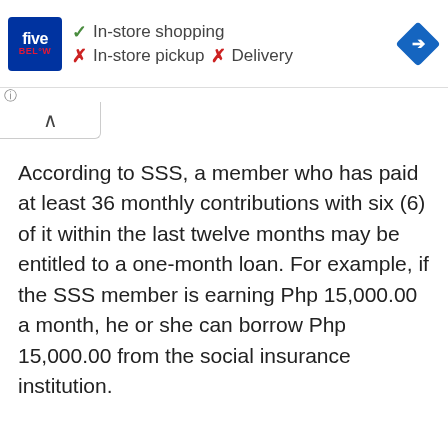[Figure (screenshot): Five Below store ad banner showing In-store shopping (checkmark), In-store pickup (X), and Delivery (X), with Five Below logo and navigation arrow icon]
According to SSS, a member who has paid at least 36 monthly contributions with six (6) of it within the last twelve months may be entitled to a one-month loan. For example, if the SSS member is earning Php 15,000.00 a month, he or she can borrow Php 15,000.00 from the social insurance institution.